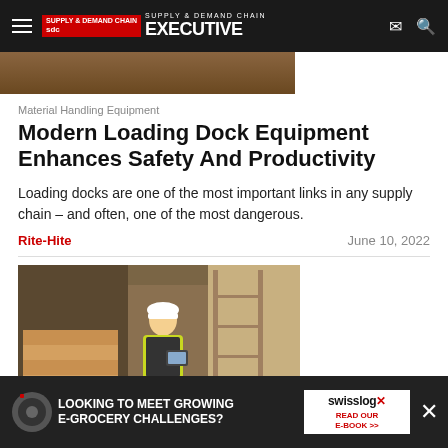SDC Supply & Demand Chain Executive
[Figure (photo): Top portion of a warehouse/loading dock photo, partially visible]
Material Handling Equipment
Modern Loading Dock Equipment Enhances Safety And Productivity
Loading docks are one of the most important links in any supply chain – and often, one of the most dangerous.
Rite-Hite   June 10, 2022
[Figure (photo): Warehouse worker in yellow vest and hard hat holding a tablet, standing next to stacked pallets]
[Figure (screenshot): Advertisement banner: Looking to Meet Growing E-Grocery Challenges? Swisslog Read Our E-Book >>]